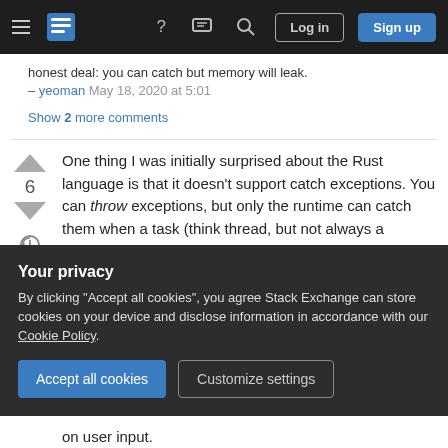Stack Exchange navigation bar with hamburger menu, logo, help, chat, search icons, Log in and Sign up buttons
honest deal: you can catch but memory will leak.
– yeoman May 18, 2020 at 5:01
Show 2 more comments
One thing I was initially surprised about the Rust language is that it doesn't support catch exceptions. You can throw exceptions, but only the runtime can catch them when a task (think thread, but not always a separate OS thread) dies; if you start a task yourself, then you can ask whether it exited normally or whether it failed...
[Figure (other): Your privacy cookie consent banner with Accept all cookies and Customize settings buttons]
on user input.